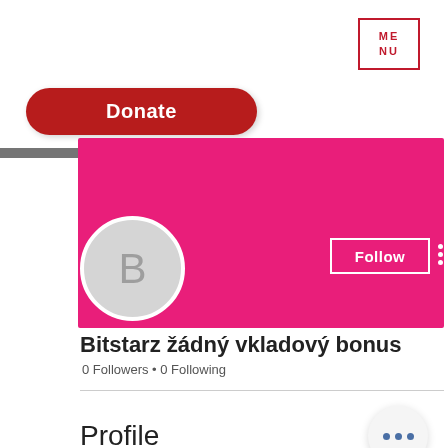[Figure (screenshot): MENU button with red border in top right corner, text ME NU in red]
[Figure (screenshot): Red rounded Donate button]
[Figure (screenshot): Pink profile banner with Follow button and vertical three dots]
[Figure (screenshot): Gray circular avatar with letter B]
Bitstarz žádný vkladový bonus
0 Followers • 0 Following
[Figure (screenshot): Floating circle with three blue dots (more options button)]
Profile